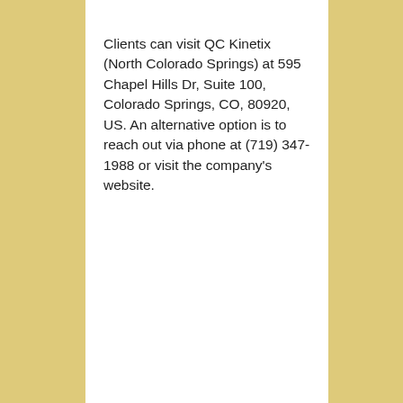Clients can visit QC Kinetix (North Colorado Springs) at 595 Chapel Hills Dr, Suite 100, Colorado Springs, CO, 80920, US. An alternative option is to reach out via phone at (719) 347-1988 or visit the company's website.